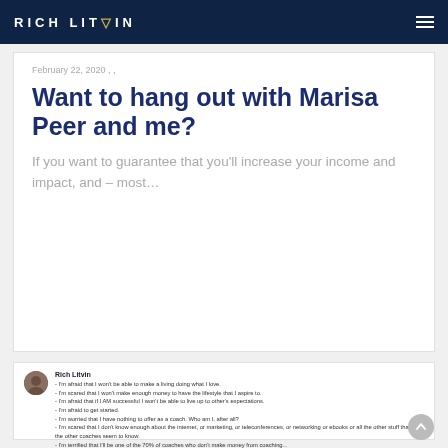RICH LITVIN
February 22, 2020 , ,
Want to hang out with Marisa Peer and me?
If you want to guarantee that you'll increase your income and impact, and – most…
[Figure (screenshot): Facebook post by Rich Litvin listing fears coaches have, including fear of not making a living, not making enough money, not living up to expectations, being afraid to get started, having nothing to offer, not knowing enough about internet/marketing/teleconferences/networking/ebooks, and being one of the 70% of coaches who don't make money from coaching.]